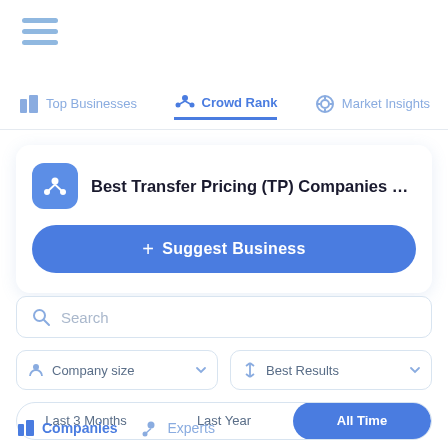[Figure (screenshot): Hamburger menu icon (three horizontal lines) in light blue]
[Figure (screenshot): Navigation tab bar with Top Businesses, Crowd Rank (active/selected), and Market Insights tabs]
Best Transfer Pricing (TP) Companies Luxembourg
+ Suggest Business
Search
Company size
Best Results
Last 3 Months
Last Year
All Time
Companies
Experts